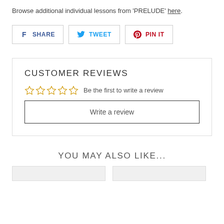Browse additional individual lessons from 'PRELUDE' here.
[Figure (infographic): Social sharing buttons: Facebook Share, Twitter Tweet, Pinterest Pin It]
CUSTOMER REVIEWS
☆☆☆☆☆  Be the first to write a review
Write a review
YOU MAY ALSO LIKE...